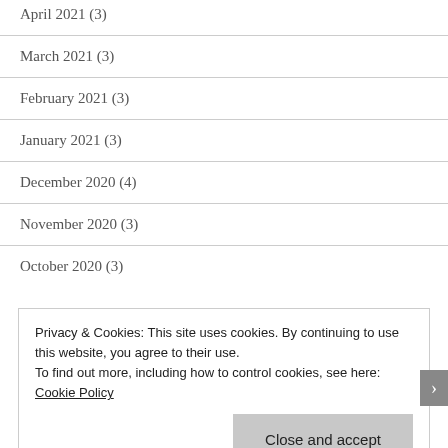April 2021 (3)
March 2021 (3)
February 2021 (3)
January 2021 (3)
December 2020 (4)
November 2020 (3)
October 2020 (3)
Privacy & Cookies: This site uses cookies. By continuing to use this website, you agree to their use.
To find out more, including how to control cookies, see here: Cookie Policy
Close and accept